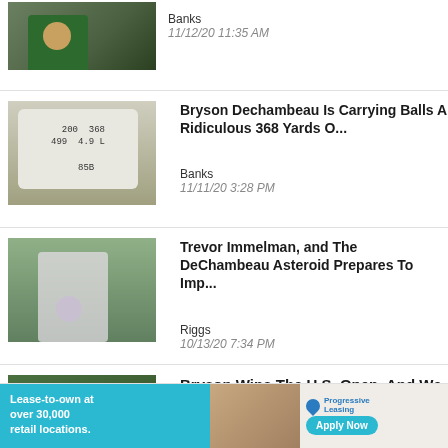[Figure (photo): Golfer in green jacket holding trophy, partially visible at top of page]
Banks
11/12/20 11:35 AM
[Figure (photo): Golf rangefinder device with yardage numbers displayed on screen]
Bryson Dechambeau Is Carrying Balls A Ridiculous 368 Yards O...
Banks
11/11/20 3:28 PM
[Figure (photo): Golfer swinging a driver on a golf course with crowd in background]
Trevor Immelman, and The DeChambeau Asteroid Prepares To Imp...
Riggs
10/13/20 7:34 PM
[Figure (photo): Bryson DeChambeau kissing the U.S. Open trophy]
Bryson Wins The U.S. Open, And We Were There
[Figure (photo): Advertisement banner: Progressive Leasing - Lease-to-own at over 30,000 retail locations. Apply Now.]